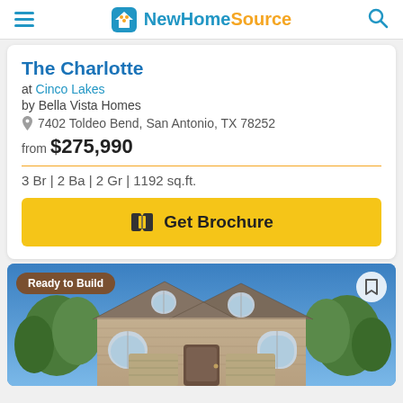NewHomeSource
The Charlotte
at Cinco Lakes
by Bella Vista Homes
7402 Toldeo Bend, San Antonio, TX 78252
from $275,990
3 Br | 2 Ba | 2 Gr | 1192 sq.ft.
Get Brochure
[Figure (photo): Exterior photo of a two-story brick home with arched windows and blue sky background. Badge reads 'Ready to Build'.]